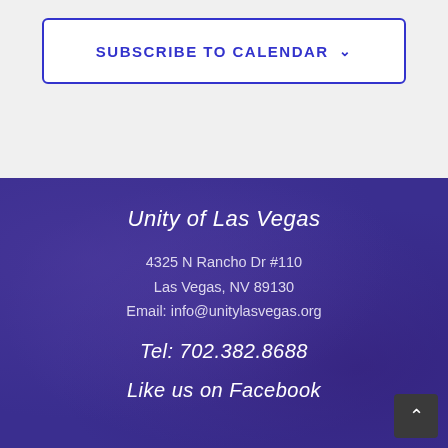SUBSCRIBE TO CALENDAR ∨
Unity of Las Vegas
4325 N Rancho Dr #110
Las Vegas, NV 89130
Email: info@unitylasvegas.org
Tel: 702.382.8688
Like us on Facebook